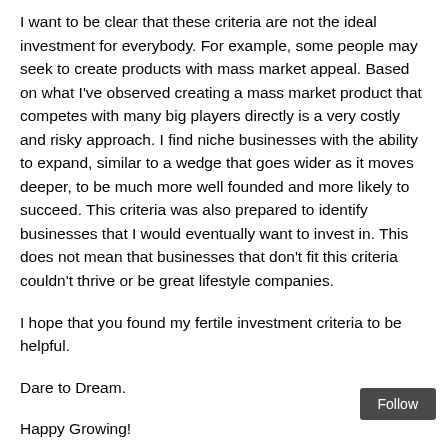I want to be clear that these criteria are not the ideal investment for everybody. For example, some people may seek to create products with mass market appeal. Based on what I've observed creating a mass market product that competes with many big players directly is a very costly and risky approach. I find niche businesses with the ability to expand, similar to a wedge that goes wider as it moves deeper, to be much more well founded and more likely to succeed. This criteria was also prepared to identify businesses that I would eventually want to invest in. This does not mean that businesses that don't fit this criteria couldn't thrive or be great lifestyle companies.
I hope that you found my fertile investment criteria to be helpful.
Dare to Dream.
Happy Growing!